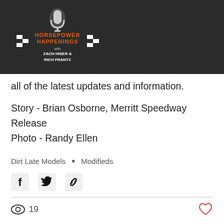[Figure (logo): Horsepower Happenings podcast logo with microphone, checkered flags, Zach Hiser and Rich Frantz names]
all of the latest updates and information.
Story - Brian Osborne, Merritt Speedway Release
Photo - Randy Ellen
Dirt Late Models • Modifieds
[Figure (infographic): Social share icons: Facebook, Twitter, link]
19
Recent Posts
See All